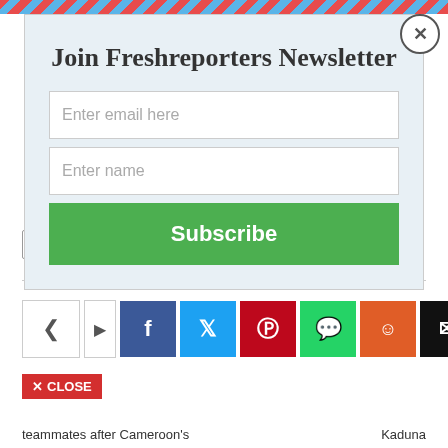Join Freshreporters Newsletter
Enter email here
Enter name
Subscribe
Gimbiya   Shoreham
[Figure (infographic): Social share bar with icons: share symbol, arrow, Facebook, Twitter, Pinterest, WhatsApp, Reddit, Email, and plus button]
✕ CLOSE
teammates after Cameroon's
Kaduna